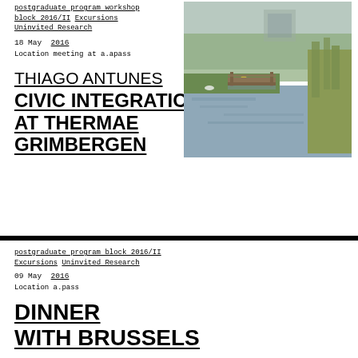postgraduate program workshop block 2016/II Excursions Uninvited Research
18 May  2016
Location meeting at a.apass
THIAGO ANTUNES CIVIC INTEGRATION AT THERMAE GRIMBERGEN
[Figure (photo): Outdoor photograph of a pond or river with a wooden dock/bridge, green reeds/grass on the right, trees and a building in the background, with overcast sky. Yellow flowers visible near the water's edge.]
postgraduate program block 2016/II Excursions Uninvited Research
09 May  2016
Location a.pass
DINNER WITH BRUSSELS